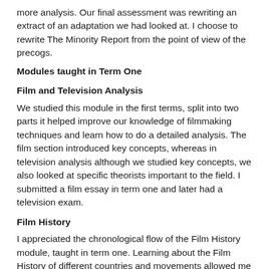more analysis. Our final assessment was rewriting an extract of an adaptation we had looked at. I choose to rewrite The Minority Report from the point of view of the precogs.
Modules taught in Term One
Film and Television Analysis
We studied this module in the first terms, split into two parts it helped improve our knowledge of filmmaking techniques and learn how to do a detailed analysis. The film section introduced key concepts, whereas in television analysis although we studied key concepts, we also looked at specific theorists important to the field. I submitted a film essay in term one and later had a television exam.
Film History
I appreciated the chronological flow of the Film History module, taught in term one. Learning about the Film History of different countries and movements allowed me to understand the links as we progressed. Seeing these links highlighted how the different movements influenced each other. Therefore making my understanding more cohesive and my overall knowledge stronger and more distinctive as a whole. We submitted a seen assignment